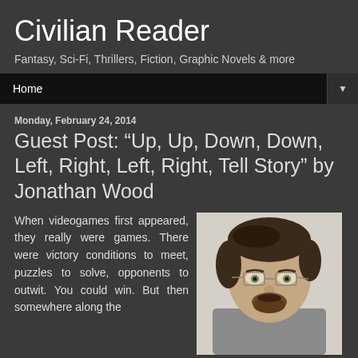Civilian Reader
Fantasy, Sci-Fi, Thrillers, Fiction, Graphic Novels & more
Home
Monday, February 24, 2014
Guest Post: “Up, Up, Down, Down, Left, Right, Left, Right, Tell Story” by Jonathan Wood
When videogames first appeared, they really were games. There were victory conditions to meet, puzzles to solve, opponents to outwit. You could win. But then somewhere along the
[Figure (photo): Headshot photo of Jonathan Wood, a man with glasses, dark hair, and a beard, wearing a grey shirt.]